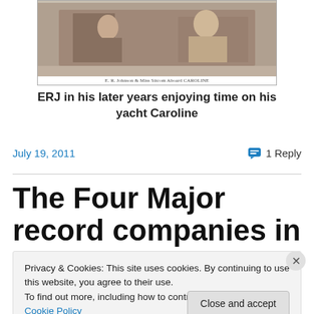[Figure (photo): Old black and white photograph of people aboard a yacht, caption reads 'E.R. Johnson & Miss Sitcom Aboard CAROLINE']
ERJ in his later years enjoying time on his yacht Caroline
July 19, 2011
1 Reply
The Four Major record companies in the UK (in 1924)
Privacy & Cookies: This site uses cookies. By continuing to use this website, you agree to their use.
To find out more, including how to control cookies, see here: Cookie Policy